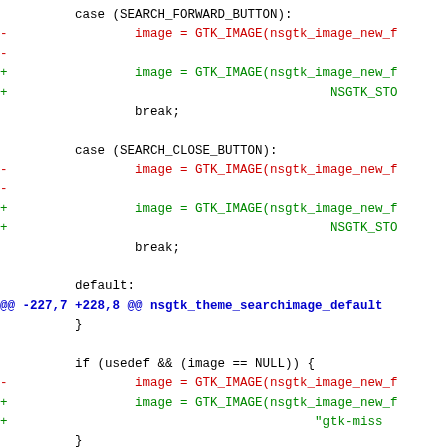Code diff showing changes to nsgtk_theme_searchimage_default function, including modifications to SEARCH_FORWARD_BUTTON, SEARCH_CLOSE_BUTTON, and default cases with GTK_IMAGE and NSGTK_STO additions.